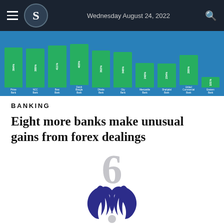Wednesday August 24, 2022
[Figure (bar-chart): Bank forex gains chart]
BANKING
Eight more banks make unusual gains from forex dealings
[Figure (logo): News publication logo — circular emblem with stylized flame/wing shapes in dark navy blue]